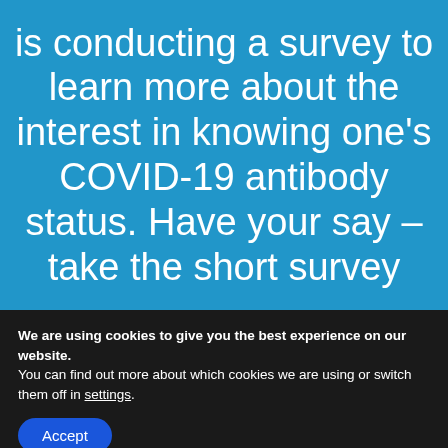… is conducting a survey to learn more about the interest in knowing one's COVID-19 antibody status. Have your say – take the short survey
We are using cookies to give you the best experience on our website.
You can find out more about which cookies we are using or switch them off in settings.
Accept